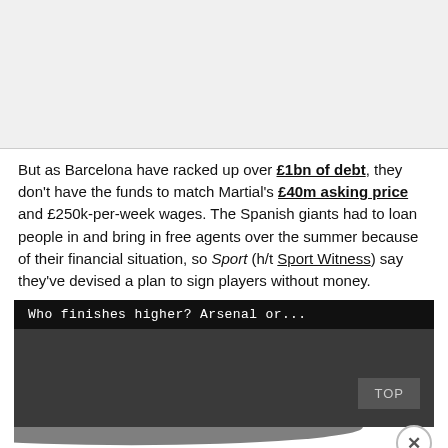[Figure (other): Gray placeholder image area at top of page]
But as Barcelona have racked up over £1bn of debt, they don't have the funds to match Martial's £40m asking price and £250k-per-week wages. The Spanish giants had to loan people in and bring in free agents over the summer because of their financial situation, so Sport (h/t Sport Witness) say they've devised a plan to sign players without money.
[Figure (other): Interactive widget with black bar reading 'Who finishes higher? Arsenal or...' and dark gray area below with a TOP button and close X button]